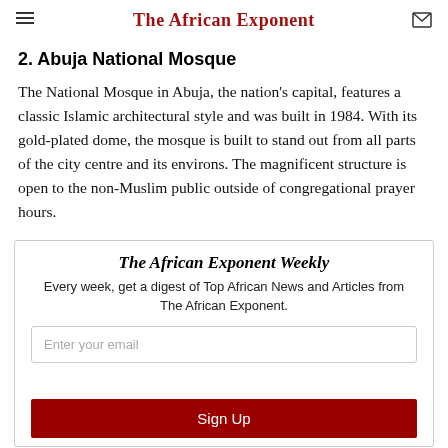The African Exponent
2. Abuja National Mosque
The National Mosque in Abuja, the nation's capital, features a classic Islamic architectural style and was built in 1984. With its gold-plated dome, the mosque is built to stand out from all parts of the city centre and its environs. The magnificent structure is open to the non-Muslim public outside of congregational prayer hours.
The African Exponent Weekly
Every week, get a digest of Top African News and Articles from The African Exponent.
Enter your email
Sign Up
This site is protected by reCAPTCHA and the Google Privacy Policy and